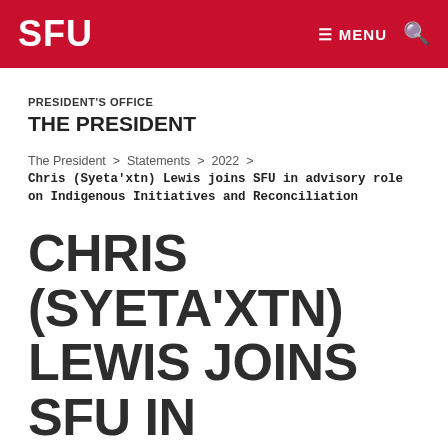SFU | MENU | Search
PRESIDENT'S OFFICE
THE PRESIDENT
The President > Statements > 2022 >
Chris (Syeta'xtn) Lewis joins SFU in advisory role on Indigenous Initiatives and Reconciliation
CHRIS (SYETA'XTN) LEWIS JOINS SFU IN ADVISORY ROLE ON INDIGENOUS